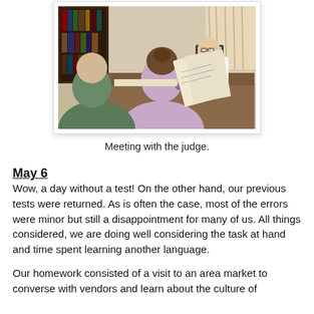[Figure (photo): Two people seen from behind sitting across a desk from a man in a white shirt and tie, who appears to be a judge or official. One person is holding up documents. Bookshelves and office setting in the background.]
Meeting with the judge.
May 6
Wow, a day without a test! On the other hand, our previous tests were returned. As is often the case, most of the errors were minor but still a disappointment for many of us. All things considered, we are doing well considering the task at hand and time spent learning another language.
Our homework consisted of a visit to an area market to converse with vendors and learn about the culture of